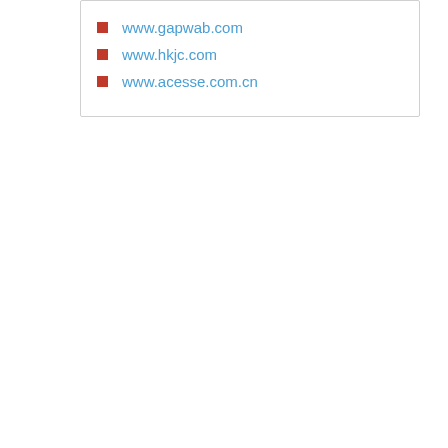www.gapwab.com
www.hkjc.com
www.acesse.com.cn